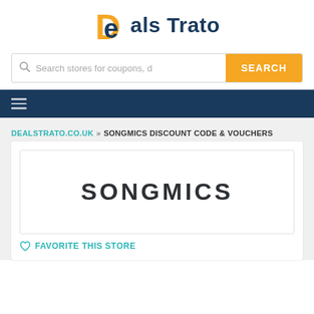[Figure (logo): Deals Trato logo with orange D and dark blue 'eals Trato' text]
[Figure (screenshot): Search bar with placeholder 'Search stores for coupons, d' and orange SEARCH button]
[Figure (screenshot): Dark navy navigation bar with hamburger menu icon]
DEALSTRATO.CO.UK » SONGMICS DISCOUNT CODE & VOUCHERS
[Figure (logo): SONGMICS brand logo in bold dark text on white background with border]
♡ FAVORITE THIS STORE